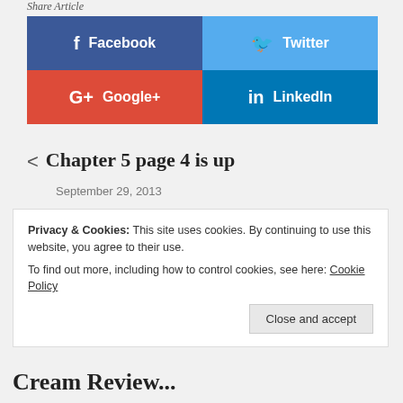Share Article
[Figure (infographic): Social sharing buttons grid: Facebook (dark blue), Twitter (light blue), Google+ (red), LinkedIn (teal blue)]
< Chapter 5 page 4 is up
September 29, 2013
Privacy & Cookies: This site uses cookies. By continuing to use this website, you agree to their use.
To find out more, including how to control cookies, see here: Cookie Policy
Close and accept
Cream Review...